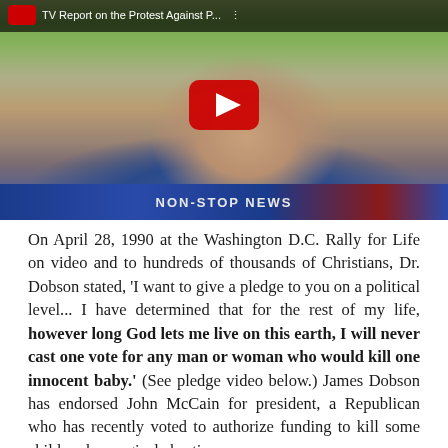[Figure (screenshot): YouTube video thumbnail showing a TV news report titled 'TV Report on the Protest Against...' with a person facing the camera outdoors, a YouTube play button overlay, and a 'NON-STOP NEWS' lower-third banner.]
On April 28, 1990 at the Washington D.C. Rally for Life on video and to hundreds of thousands of Christians, Dr. Dobson stated, 'I want to give a pledge to you on a political level... I have determined that for the rest of my life, however long God lets me live on this earth, I will never cast one vote for any man or woman who would kill one innocent baby.' (See pledge video below.) James Dobson has endorsed John McCain for president, a Republican who has recently voted to authorize funding to kill some children by surgical abortion.